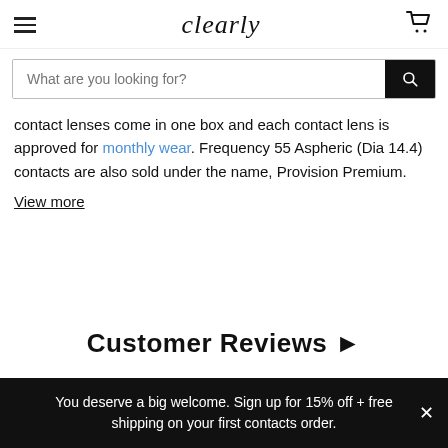clearly (logo with hamburger menu and cart)
What are you looking for?
contact lenses come in one box and each contact lens is approved for monthly wear. Frequency 55 Aspheric (Dia 14.4) contacts are also sold under the name, Provision Premium.
View more
Customer Reviews ▶
You deserve a big welcome. Sign up for 15% off + free shipping on your first contacts order.